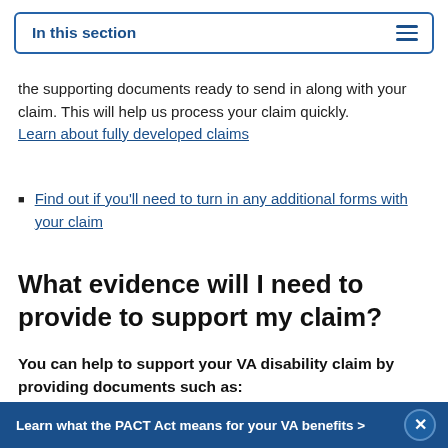In this section
the supporting documents ready to send in along with your claim. This will help us process your claim quickly.
Learn about fully developed claims
Find out if you'll need to turn in any additional forms with your claim
What evidence will I need to provide to support my claim?
You can help to support your VA disability claim by providing documents such as:
VA medical records and hospital records that relate to your
Learn what the PACT Act means for your VA benefits >